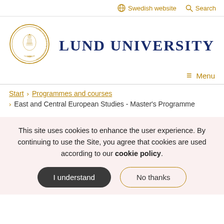Swedish website   Search
[Figure (logo): Lund University circular seal with Latin text and figure, gold/brown color]
LUND UNIVERSITY
≡ Menu
Start › Programmes and courses › East and Central European Studies - Master's Programme
This site uses cookies to enhance the user experience. By continuing to use the Site, you agree that cookies are used according to our cookie policy.
I understand   No thanks